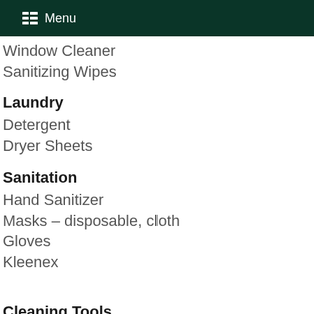Menu
Window Cleaner
Sanitizing Wipes
Laundry
Detergent
Dryer Sheets
Sanitation
Hand Sanitizer
Masks – disposable, cloth
Gloves
Kleenex
Cleaning Tools
Brushes
Sponges